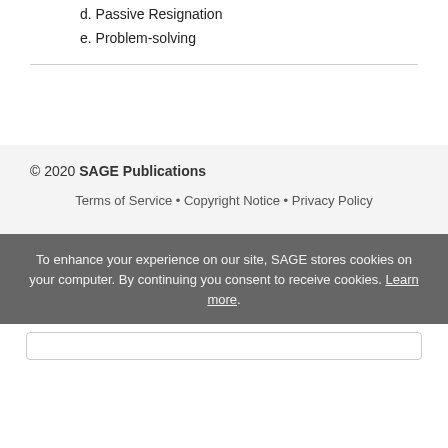d. Passive Resignation
e. Problem-solving
© 2020 SAGE Publications
Terms of Service • Copyright Notice • Privacy Policy
To enhance your experience on our site, SAGE stores cookies on your computer. By continuing you consent to receive cookies. Learn more.